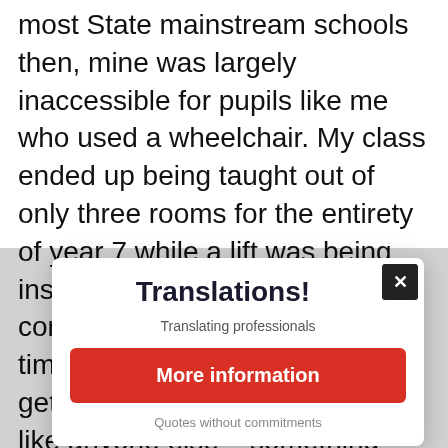most State mainstream schools then, mine was largely inaccessible for pupils like me who used a wheelchair. My class ended up being taught out of only three rooms for the entirety of year 7 while a lift was being installed, with more renovations coming over the years. By the time I was in sixth form, I could get to most parts of the school like anyone else – something often taken for granted but vital for not only a child's
[Figure (screenshot): A modal popup dialog with title 'Translations!', subtitle 'Translating professionals', a red 'More information' button, footer text 'Quotes without commitments', and a close (X) button in the top-right corner.]